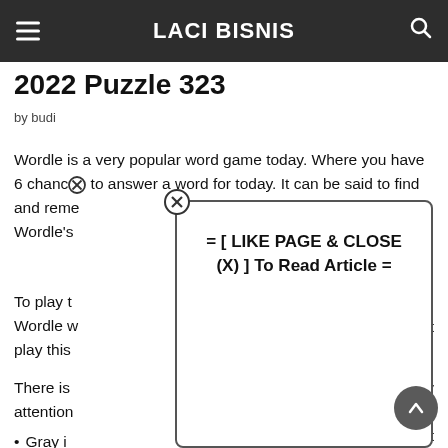LACI BISNIS
2022 Puzzle 323
by budi
Wordle is a very popular word game today. Where you have 6 chance to answer a word for today. It can be said to find and remember words. Wordle's
[Figure (other): Modal dialog overlay with text: = [ LIKE PAGE & CLOSE (X) ] To Read Article =, with a close button icon and a scroll-to-top button in the lower right]
To play t Wordle w st play this s.
There is y attention
Gray i ot